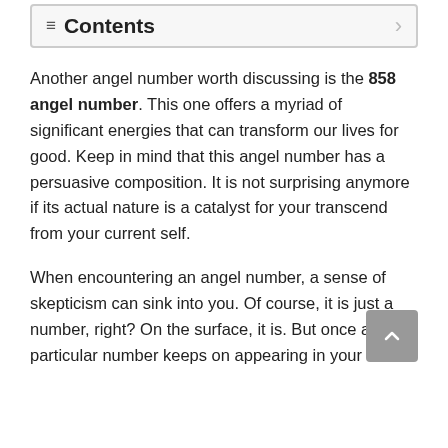≡ Contents
Another angel number worth discussing is the 858 angel number. This one offers a myriad of significant energies that can transform our lives for good. Keep in mind that this angel number has a persuasive composition. It is not surprising anymore if its actual nature is a catalyst for your transcend from your current self.
When encountering an angel number, a sense of skepticism can sink into you. Of course, it is just a number, right? On the surface, it is. But once a particular number keeps on appearing in your life